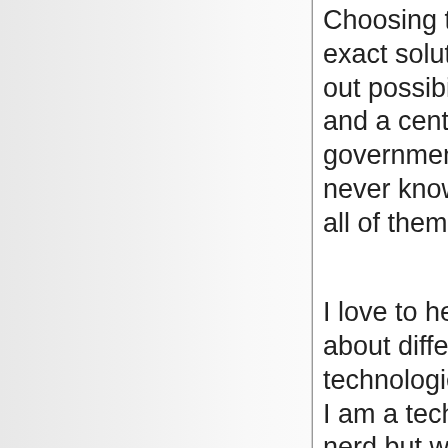Choosing the exact solution cuts out possibilities and a central government can never know about all of them.

I love to hear about different technologies since I am a technology nerd but we mostly need to find out how local or global capital, local or global knowledge and local conditions all around Sweden can get